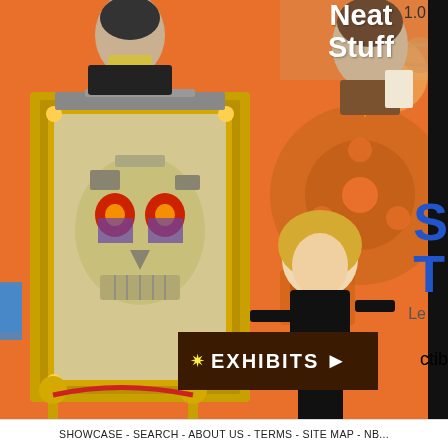[Figure (illustration): Retro-style orange collage webpage screenshot featuring: top text 'Neat Stuff', a Terminator skull painting in a gold ornate frame with rope stanchions, a blonde woman in black posing, a redheaded woman in teal turtleneck, a film reel graphic, a spaceship rocket, a white silhouette figure, and an EXHIBITS arrow button. Partial text elements visible at edges including 'don't', 's', 'ctib', and blue partial letters.]
SHOWCASE - SEARCH - ABOUT US - TERMS - SITE MAP - NB...